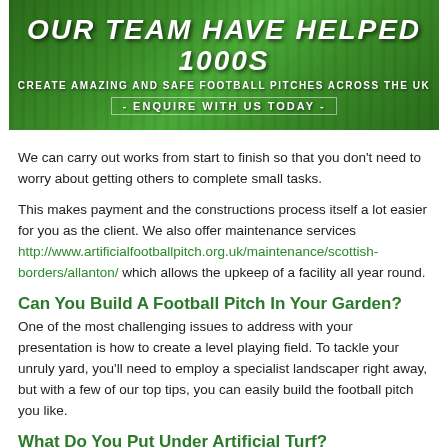[Figure (illustration): Green football pitch banner with text: OUR TEAM HAVE HELPED 1000S CREATE AMAZING AND SAFE FOOTBALL PITCHES ACROSS THE UK - ENQUIRE WITH US TODAY -]
We can carry out works from start to finish so that you don't need to worry about getting others to complete small tasks.
This makes payment and the constructions process itself a lot easier for you as the client. We also offer maintenance services http://www.artificialfootballpitch.org.uk/maintenance/scottish-borders/allanton/ which allows the upkeep of a facility all year round.
Can You Build A Football Pitch In Your Garden?
One of the most challenging issues to address with your presentation is how to create a level playing field. To tackle your unruly yard, you'll need to employ a specialist landscaper right away, but with a few of our top tips, you can easily build the football pitch you like.
What Do You Put Under Artificial Turf?